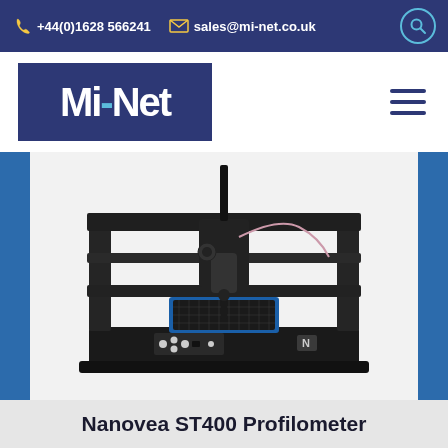+44(0)1628 566241   sales@mi-net.co.uk
[Figure (logo): Mi-Net company logo, white text on dark blue background]
[Figure (photo): Nanovea ST400 Profilometer instrument — a benchtop CNC-style machine with black frame, scanning head with sensor/probe mounted on gantry, blue-bordered sample stage tray, and control panel with buttons on the front face. Blue vertical accent stripes on left and right sides of image area.]
Nanovea ST400 Profilometer